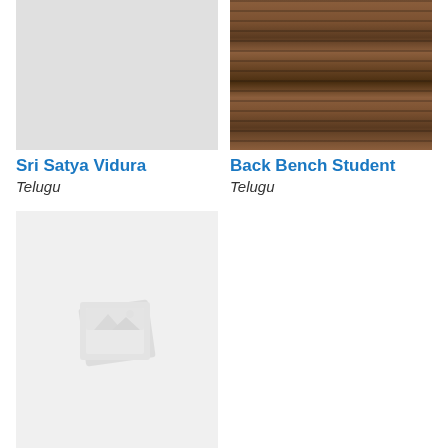[Figure (photo): Thumbnail image for Sri Satya Vidura movie - grey placeholder]
Sri Satya Vidura
Telugu
[Figure (photo): Thumbnail image for Back Bench Student movie - wooden benches photo]
Back Bench Student
Telugu
[Figure (photo): Thumbnail placeholder image for Nuvvila movie]
Nuvvila
Telugu